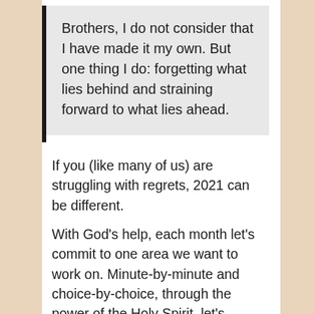Brothers, I do not consider that I have made it my own. But one thing I do: forgetting what lies behind and straining forward to what lies ahead.
If you (like many of us) are struggling with regrets, 2021 can be different.
With God’s help, each month let’s commit to one area we want to work on. Minute-by-minute and choice-by-choice, through the power of the Holy Spirit, let’s reach toward what lies ahead – a different way of living.